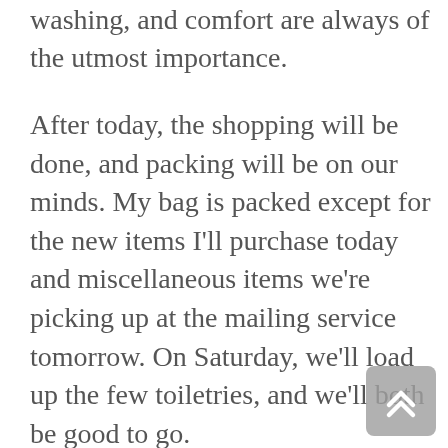Durability, ease of cleaning and washing, and comfort are always of the utmost importance.
After today, the shopping will be done, and packing will be on our minds. My bag is packed except for the new items I'll purchase today and miscellaneous items we're picking up at the mailing service tomorrow. On Saturday, we'll load up the few toiletries, and we'll both be good to go.
With a 20% off coupon for any restaurant in the resort, most likely, we'll dine here tonight for the first and last time. Breakfasts have been excellent. We anticipate dinner will be equally good.
Now, as our US visit winds down, it's impossible not to start thinking about the animals we left behind. Will Little, Tiny, Broken Horn, Bossy, Bog Daddy, Stingy,